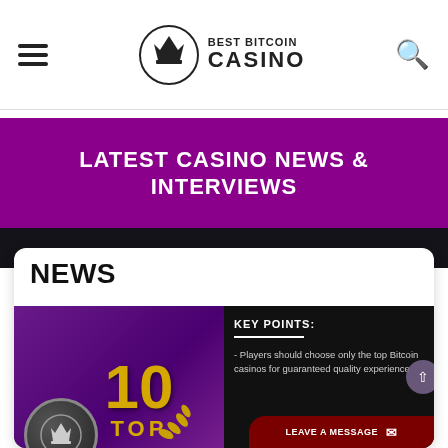Best Bitcoin Casino
LATEST CASINO NEWS & INTERVIEWS
NEWS
[Figure (screenshot): News article thumbnail showing '10 TOP' in gold text with laurel wreaths on a purple background, a coin with crown logo, and a black panel with 'KEY POINTS:' heading reading 'Players should choose only the top Bitcoin casinos for guaranteed quality experience']
KEY POINTS:
- Players should choose only the top Bitcoin casinos for guaranteed quality experience
LEAVE A MESSAGE